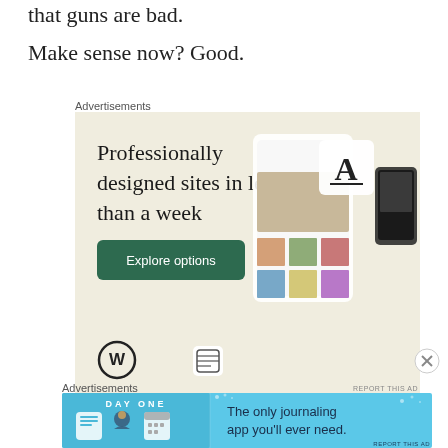that guns are bad.
Make sense now? Good.
Advertisements
[Figure (illustration): WordPress advertisement: 'Professionally designed sites in less than a week' with green 'Explore options' button, WordPress logo, device mockups showing website designs on beige background]
Advertisements
[Figure (illustration): DayOne app advertisement: 'The only journaling app you'll ever need.' on light blue background with DayOne brand name and app icons]